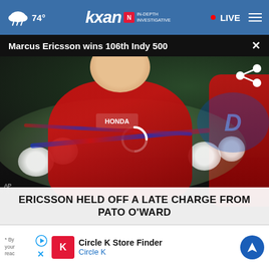74° | KXAN IN-DEPTH INVESTIGATIVE | LIVE
Marcus Ericsson wins 106th Indy 500
[Figure (photo): Marcus Ericsson celebrating winning the 106th Indianapolis 500, wearing a red Honda racing suit, covered in a flower wreath, pointing upward with his finger]
ERICSSON HELD OFF A LATE CHARGE FROM PATO O'WARD
NEXT *
* By ... your ... reac...
Circle K Store Finder
Circle K